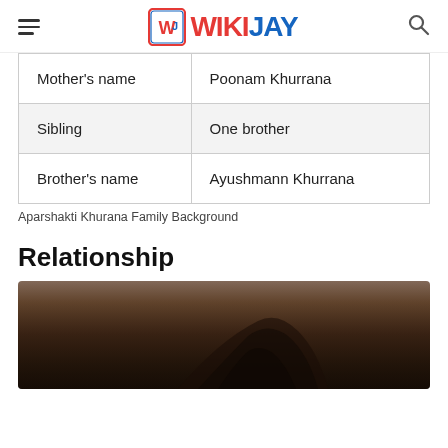WIKIJAY
| Mother's name | Poonam Khurrana |
| Sibling | One brother |
| Brother's name | Ayushmann Khurrana |
Aparshakti Khurana Family Background
Relationship
[Figure (photo): Photo of a person from behind showing the top/back of their head and hair, partial shoulder visible, taken from above/behind in outdoor setting.]